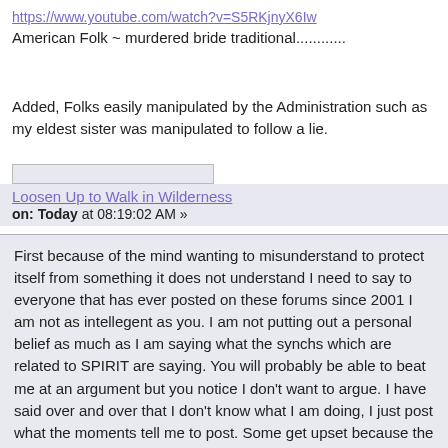https://www.youtube.com/watch?v=S5RKjnyX6Iw
American Folk ~ murdered bride traditional..............
Added, Folks easily manipulated by the Administration such as my eldest sister was manipulated to follow a lie.
Loosen Up to Walk in Wilderness
on: Today at 08:19:02 AM »
First because of the mind wanting to misunderstand to protect itself from something it does not understand I need to say to everyone that has ever posted on these forums since 2001 I am not as intellegent as you. I am not putting out a personal belief as much as I am saying what the synchs which are related to SPIRIT are saying. You will probably be able to beat me at an argument but you notice I don't want to argue. I have said over and over that I don't know what I am doing, I just post what the moments tell me to post. Some get upset because the synchs point out what we all overlook and believe they have to "win" so they just change the subject and then they feel better because they can say I do not consider their point of view. But I feel that is just the mind and ego trying